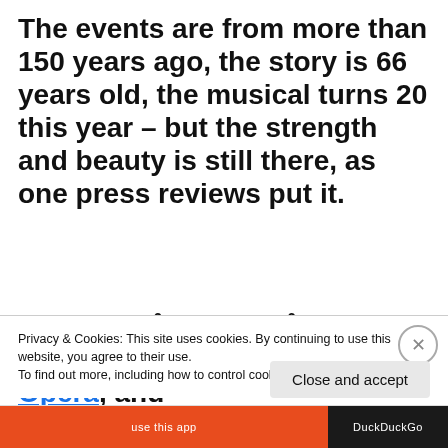The events are from more than 150 years ago, the story is 66 years old, the musical turns 20 this year – but the strength and beauty is still there, as one press reviews put it.
Kristina från Duvemåla is still playing at Gothenburg's Opera, and
Privacy & Cookies: This site uses cookies. By continuing to use this website, you agree to their use. To find out more, including how to control cookies, see here: Cookie Policy
Close and accept